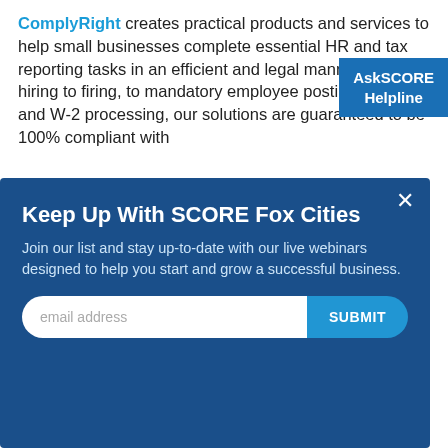ComplyRight creates practical products and services to help small businesses complete essential HR and tax reporting tasks in an efficient and legal manner. From hiring to firing, to mandatory employee postings, to 1099 and W-2 processing, our solutions are guaranteed to be 100% compliant with
[Figure (other): AskSCORE Helpline badge — blue rectangle in top right corner with white bold text 'AskSCORE Helpline']
[Figure (screenshot): Modal popup overlay with dark blue background titled 'Keep Up With SCORE Fox Cities'. Contains text 'Join our list and stay up-to-date with our live webinars designed to help you start and grow a successful business.' Below is an email address input field with a 'SUBMIT' button. A close (x) button is in the top right corner.]
and audit concerns (leading provider of ComplyRight HR products).
More from ComplyRight